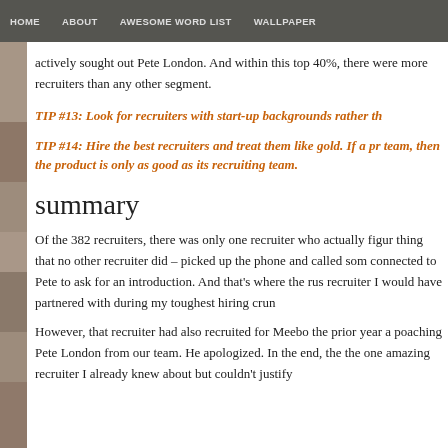HOME   ABOUT   AWESOME WORD LIST   WALLPAPER
actively sought out Pete London. And within this top 40%, there were more recruiters than any other segment.
TIP #13: Look for recruiters with start-up backgrounds rather th...
TIP #14: Hire the best recruiters and treat them like gold. If a pr... team, then the product is only as good as its recruiting team.
summary
Of the 382 recruiters, there was only one recruiter who actually figur... thing that no other recruiter did – picked up the phone and called som... connected to Pete to ask for an introduction. And that's where the rus... recruiter I would have partnered with during my toughest hiring crun...
However, that recruiter had also recruited for Meebo the prior year a... poaching Pete London from our team. He apologized. In the end, the... the one amazing recruiter I already knew about but couldn't justify...